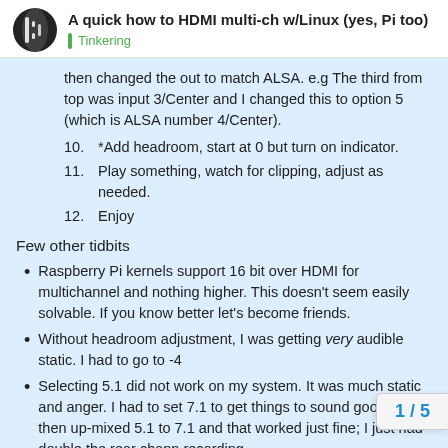A quick how to HDMI multi-ch w/Linux (yes, Pi too) | Tinkering
then changed the out to match ALSA. e.g The third from top was input 3/Center and I changed this to option 5 (which is ALSA number 4/Center).
10. *Add headroom, start at 0 but turn on indicator.
11. Play something, watch for clipping, adjust as needed.
12. Enjoy
Few other tidbits
Raspberry Pi kernels support 16 bit over HDMI for multichannel and nothing higher. This doesn't seem easily solvable. If you know better let's become friends.
Without headroom adjustment, I was getting very audible static. I had to go to -4
Selecting 5.1 did not work on my system. It was much static and anger. I had to set 7.1 to get things to sound good. Roon then up-mixed 5.1 to 7.1 and that worked just fine; I just had double the rear chann recording.
1 / 5